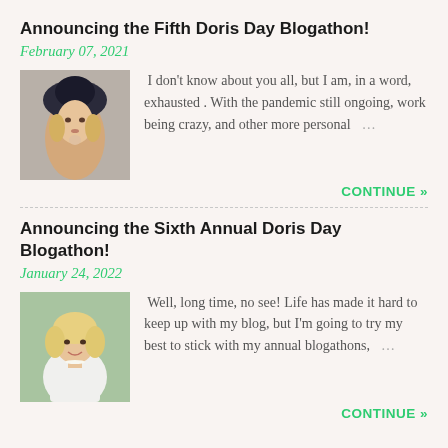Announcing the Fifth Doris Day Blogathon!
February 07, 2021
I don't know about you all, but I am, in a word, exhausted . With the pandemic still ongoing, work being crazy, and other more personal …
CONTINUE »
Announcing the Sixth Annual Doris Day Blogathon!
January 24, 2022
Well, long time, no see! Life has made it hard to keep up with my blog, but I'm going to try my best to stick with my annual blogathons. …
CONTINUE »